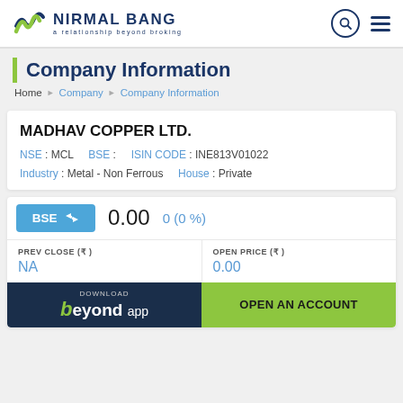NIRMAL BANG — a relationship beyond broking
Company Information
Home > Company > Company Information
MADHAV COPPER LTD. NSE: MCL   BSE:   ISIN CODE: INE813V01022   Industry: Metal - Non Ferrous   House: Private
BSE 0.00   0 (0 %)
| PREV CLOSE (₹) | OPEN PRICE (₹) |
| --- | --- |
| NA | 0.00 |
DOWNLOAD beyond app   OPEN AN ACCOUNT